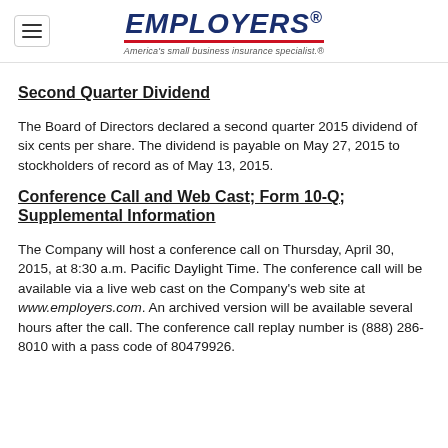EMPLOYERS — America's small business insurance specialist.®
Second Quarter Dividend
The Board of Directors declared a second quarter 2015 dividend of six cents per share. The dividend is payable on May 27, 2015 to stockholders of record as of May 13, 2015.
Conference Call and Web Cast; Form 10-Q; Supplemental Information
The Company will host a conference call on Thursday, April 30, 2015, at 8:30 a.m. Pacific Daylight Time. The conference call will be available via a live web cast on the Company's web site at www.employers.com. An archived version will be available several hours after the call. The conference call replay number is (888) 286-8010 with a pass code of 80479926.